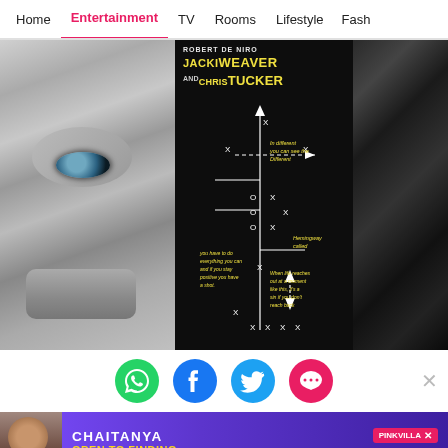Home | Entertainment | TV | Rooms | Lifestyle | Fash
[Figure (photo): Silver Linings Playbook movie promotional image: left half shows a black-and-white close-up of Bradley Cooper's face with a blue eye; center shows a black chalkboard with yellow text reading ROBERT DE NIRO, JACKI WEAVER, AND CHRIS TUCKER along with football play diagrams and handwritten chalk text; right half shows the back/side of a dark-haired woman's head in black and white.]
[Figure (infographic): Social sharing icons row: WhatsApp (green), Facebook (blue), Twitter (blue), Chat/comment (pink/red)]
[Figure (photo): Advertisement banner: Chaitanya - OPEN TO FINDING LOVE AGAIN? with purple gradient background, person in brown jacket on left, PinkVilla badge and Watch Now button on right]